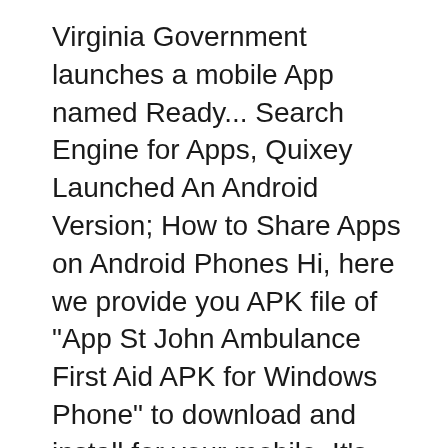Virginia Government launches a mobile App named Ready... Search Engine for Apps, Quixey Launched An Android Version; How to Share Apps on Android Phones Hi, here we provide you APK file of "App St John Ambulance First Aid APK for Windows Phone" to download and install for your mobile. It's easy and warranty.
Hi, here we provide you APK file of "App St John Ambulance First Aid APK for Windows Phone" to download and install for your mobile. It's easy and warranty. 3 Great Android First Aid Apps if you had First-Aid instructions with you on your phone. It's clear that having a First-Aid application is one of the